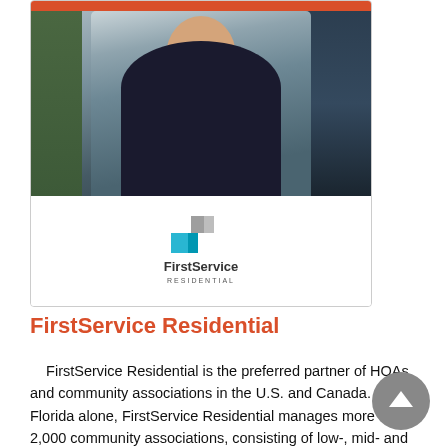[Figure (photo): Professional headshot of a man in a dark suit with light blue shirt, leaning forward with hands clasped, in front of a glass building background]
[Figure (logo): FirstService Residential logo with blue arrow/chevron graphic and company name]
FirstService Residential
FirstService Residential is the preferred partner of HOAs and community associations in the U.S. and Canada. In Florida alone, FirstService Residential manages more than 2,000 community associations, consisting of low-, mid- and high-rise condominiums and cooperatives; single-family homes; master-planned, lifestyle, and active adult communities; and rental and